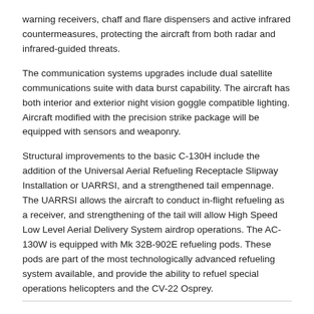warning receivers, chaff and flare dispensers and active infrared countermeasures, protecting the aircraft from both radar and infrared-guided threats.
The communication systems upgrades include dual satellite communications suite with data burst capability. The aircraft has both interior and exterior night vision goggle compatible lighting. Aircraft modified with the precision strike package will be equipped with sensors and weaponry.
Structural improvements to the basic C-130H include the addition of the Universal Aerial Refueling Receptacle Slipway Installation or UARRSI, and a strengthened tail empennage. The UARRSI allows the aircraft to conduct in-flight refueling as a receiver, and strengthening of the tail will allow High Speed Low Level Aerial Delivery System airdrop operations. The AC-130W is equipped with Mk 32B-902E refueling pods. These pods are part of the most technologically advanced refueling system available, and provide the ability to refuel special operations helicopters and the CV-22 Osprey.